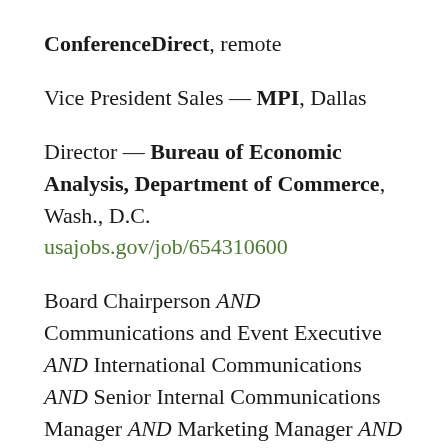ConferenceDirect, remote
Vice President Sales — MPI, Dallas
Director — Bureau of Economic Analysis, Department of Commerce, Wash., D.C.
usajobs.gov/job/654310600
Board Chairperson AND Communications and Event Executive AND International Communications AND Senior Internal Communications Manager AND Marketing Manager AND Brand & Production Manager AND Brand Executive — British Tourist Authority, London